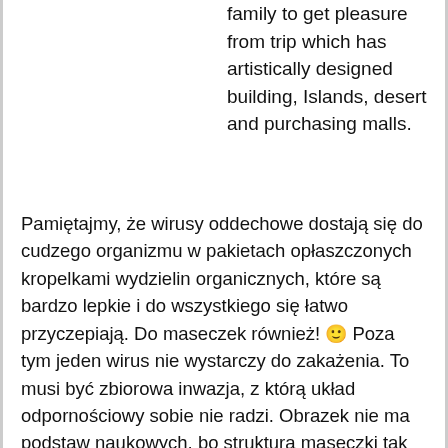family to get pleasure from trip which has artistically designed building, Islands, desert and purchasing malls.
Pamiętajmy, że wirusy oddechowe dostają się do cudzego organizmu w pakietach opłaszczonych kropelkami wydzielin organicznych, które są bardzo lepkie i do wszystkiego się łatwo przyczepiają. Do maseczek również! 🙂 Poza tym jeden wirus nie wystarczy do zakażenia. To musi być zbiorowa inwazja, z którą układ odpornościowy sobie nie radzi. Obrazek nie ma podstaw naukowych, bo struktura maseczki tak nie wygląda. Struktura maseczki jest taka, że można ją sobie wyobrazić, jako obszar złożony z lasu sztachet powierzchni 20 m. kwadratowych.